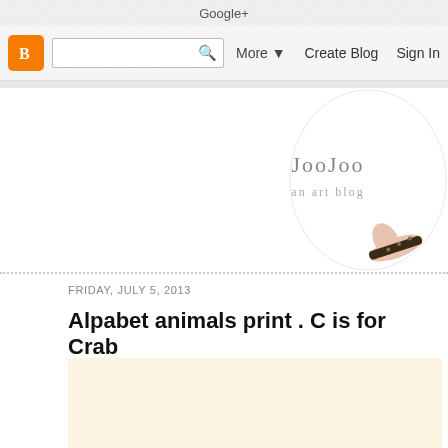Google+
More ▼  Create Blog  Sign In
[Figure (logo): JooJoo an art blog logo with teardrop/egg shape, illustration of a hand holding a dark hair clip; decorative scallop wave pattern in background top bar]
FRIDAY, JULY 5, 2013
Alpabet animals print . C is for Crab
[Figure (illustration): Cream/warm beige background image area for blog post content (partially visible)]